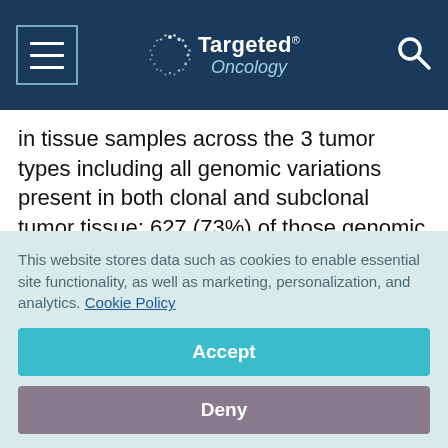Targeted Oncology
in tissue samples across the 3 tumor types including all genomic variations present in both clonal and subclonal tumor tissue; 627 (73%) of those genomic variations were also found in the blood.
“Across all tumor types, we found a very strong association between the fraction of cancer cells that
This website stores data such as cookies to enable essential site functionality, as well as marketing, personalization, and analytics. Cookie Policy
Accept
Deny